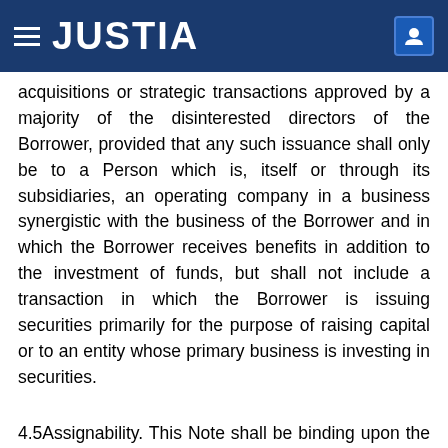JUSTIA
acquisitions or strategic transactions approved by a majority of the disinterested directors of the Borrower, provided that any such issuance shall only be to a Person which is, itself or through its subsidiaries, an operating company in a business synergistic with the business of the Borrower and in which the Borrower receives benefits in addition to the investment of funds, but shall not include a transaction in which the Borrower is issuing securities primarily for the purpose of raising capital or to an entity whose primary business is investing in securities.
4.5Assignability. This Note shall be binding upon the Borrower and its successors and assigns, and shall inure to be the benefit of the Holder and its successors and